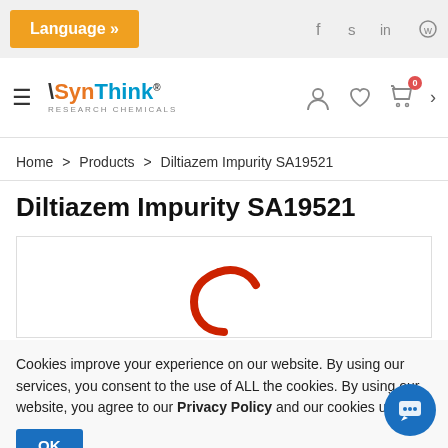Language »
[Figure (logo): SynThink Research Chemicals logo with hamburger menu]
Home > Products > Diltiazem Impurity SA19521
Diltiazem Impurity SA19521
[Figure (illustration): Partial molecular structure illustration in red]
Cookies improve your experience on our website. By using our services, you consent to the use of ALL the cookies. By using our website, you agree to our Privacy Policy and our cookies usage.
OK